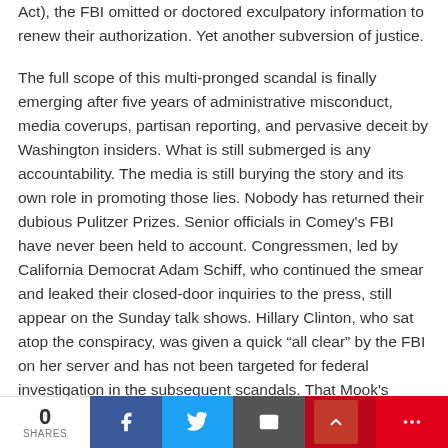Act), the FBI omitted or doctored exculpatory information to renew their authorization. Yet another subversion of justice.
The full scope of this multi-pronged scandal is finally emerging after five years of administrative misconduct, media coverups, partisan reporting, and pervasive deceit by Washington insiders. What is still submerged is any accountability. The media is still burying the story and its own role in promoting those lies. Nobody has returned their dubious Pulitzer Prizes. Senior officials in Comey's FBI have never been held to account. Congressmen, led by California Democrat Adam Schiff, who continued the smear and leaked their closed-door inquiries to the press, still appear on the Sunday talk shows. Hillary Clinton, who sat atop the conspiracy, was given a quick “all clear” by the FBI on her server and has not been targeted for federal investigation in the subsequent scandals. That Mook's
0 SHARES | Facebook | Twitter | Email | Pinterest | More